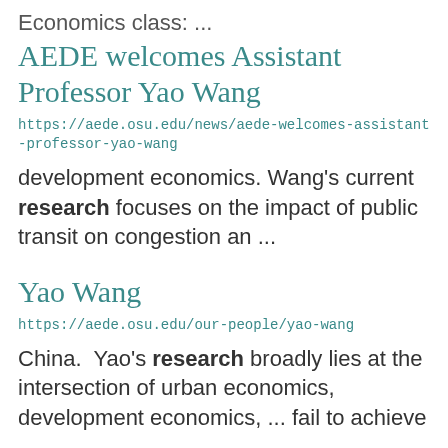Economics class: ...
AEDE welcomes Assistant Professor Yao Wang
https://aede.osu.edu/news/aede-welcomes-assistant-professor-yao-wang
development economics. Wang's current research focuses on the impact of public transit on congestion an ...
Yao Wang
https://aede.osu.edu/our-people/yao-wang
China.  Yao's research broadly lies at the intersection of urban economics, development economics, ... fail to achieve